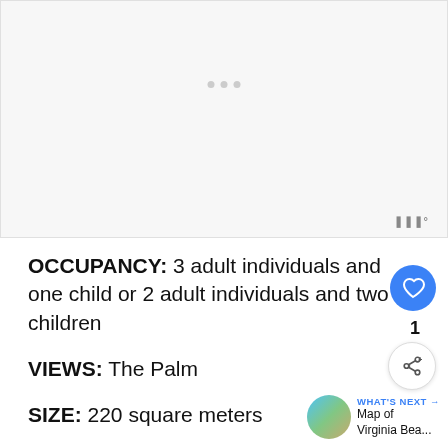[Figure (photo): Empty light gray placeholder image area with three small gray dots indicating a loading carousel]
OCCUPANCY: 3 adult individuals and one child or 2 adult individuals and two children
VIEWS: The Palm
SIZE: 220 square meters